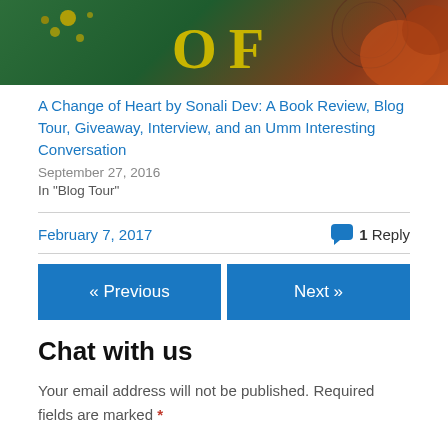[Figure (illustration): Book cover image showing decorative elements with large text 'OF' in yellow-green on a dark green background with orange/red floral and mandala decorations]
A Change of Heart by Sonali Dev: A Book Review, Blog Tour, Giveaway, Interview, and an Umm Interesting Conversation
September 27, 2016
In "Blog Tour"
February 7, 2017
1 Reply
« Previous
Next »
Chat with us
Your email address will not be published. Required fields are marked *